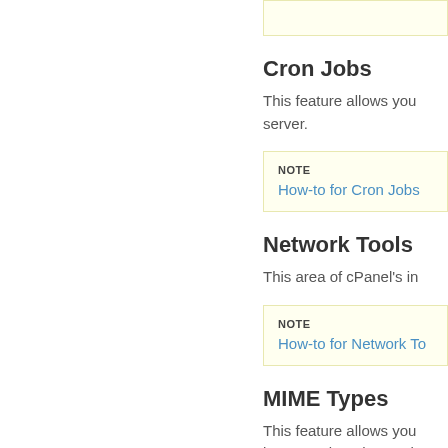Cron Jobs
This feature allows you server.
NOTE
How-to for Cron Jobs
Network Tools
This area of cPanel's in
NOTE
How-to for Network To
MIME Types
This feature allows you browser about how to h